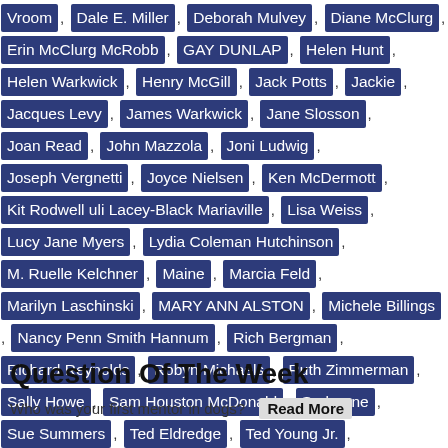Vroom , Dale E. Miller , Deborah Mulvey , Diane McClurg , Erin McClurg McRobb , GAY DUNLAP , Helen Hunt , Helen Warkwick , Henry McGill , Jack Potts , Jackie , Jacques Levy , James Warkwick , Jane Slosson , Joan Read , John Mazzola , Joni Ludwig , Joseph Vergnetti , Joyce Nielsen , Ken McDermott , Kit Rodwell uli Lacey-Black Mariaville , Lisa Weiss , Lucy Jane Myers , Lydia Coleman Hutchinson , M. Ruelle Kelchner , Maine , Marcia Feld , Marilyn Laschinski , MARY ANN ALSTON , Michele Billings , Nancy Penn Smith Hannum , Rich Bergman , Richard Reynolds , Robyn Michaels , Ruth Zimmerman , Sally Howe , Sam Houston McDonald , Sorbonne , Sue Summers , Ted Eldredge , Ted Young Jr. , Thomas Bavaria , Tracy Potts , Virginia Coleman , WENDELL SAMMET , Xiomara B. Larson , Question of the Week
Question Of The Week
Who was your first mentor in dogs?
Read More